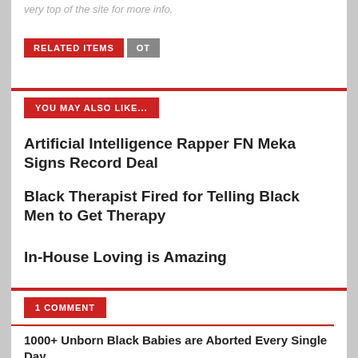very top of the site for more info.
RELATED ITEMS  OT
YOU MAY ALSO LIKE...
Artificial Intelligence Rapper FN Meka Signs Record Deal
Black Therapist Fired for Telling Black Men to Get Therapy
In-House Loving is Amazing
1 COMMENT
1000+ Unborn Black Babies are Aborted Every Single Day